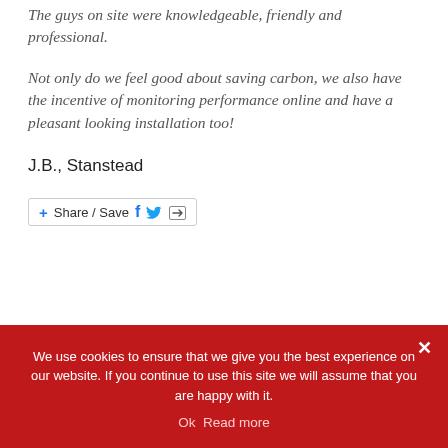The guys on site were knowledgeable, friendly and professional.
Not only do we feel good about saving carbon, we also have the incentive of monitoring performance online and have a pleasant looking installation too!
J.B., Stanstead
[Figure (other): Share / Save button bar with social media icons for Facebook, Twitter, and a forward/share icon]
We use cookies to ensure that we give you the best experience on our website. If you continue to use this site we will assume that you are happy with it. Ok  Read more